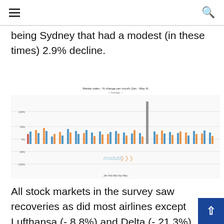Navigation header with hamburger menu and search icon
being Sydney that had a modest (in these times) 2.9% decline.
[Figure (bar-chart): Bar chart showing percentage changes for various stock markets and airlines, with blue and orange bars indicating changes. A notable spike appears around two-thirds through the chart.]
All stock markets in the survey saw recoveries as did most airlines except Lufthansa (- 8.8%) and Delta (- 21.3%). The clear winner is again Thai Airways that has gone from a share price of $2.78 the week of March 23 to $7.35 today (recall that the airline is 51% owned by